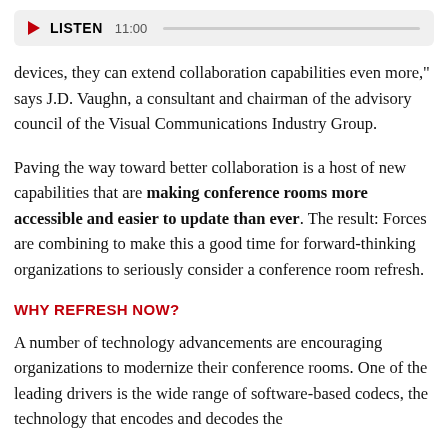[Figure (other): Audio player bar with play button, LISTEN label, time 11:00, and progress bar]
devices, they can extend collaboration capabilities even more," says J.D. Vaughn, a consultant and chairman of the advisory council of the Visual Communications Industry Group.
Paving the way toward better collaboration is a host of new capabilities that are making conference rooms more accessible and easier to update than ever. The result: Forces are combining to make this a good time for forward-thinking organizations to seriously consider a conference room refresh.
WHY REFRESH NOW?
A number of technology advancements are encouraging organizations to modernize their conference rooms. One of the leading drivers is the wide range of software-based codecs, the technology that encodes and decodes the